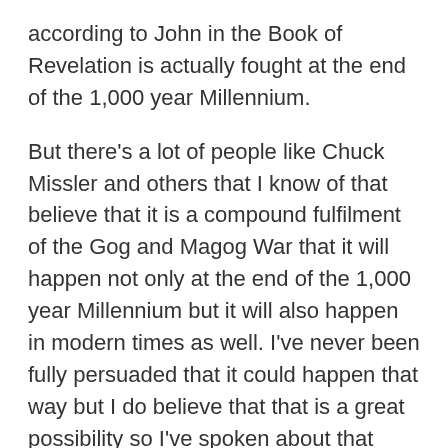according to John in the Book of Revelation is actually fought at the end of the 1,000 year Millennium.
But there's a lot of people like Chuck Missler and others that I know of that believe that it is a compound fulfilment of the Gog and Magog War that it will happen not only at the end of the 1,000 year Millennium but it will also happen in modern times as well. I've never been fully persuaded that it could happen that way but I do believe that that is a great possibility so I've spoken about that numerous times myself. But we are definitely in a very serious hour and yes Russia is there, yes Iran has gotten troops on the ground now in Syria. All the key players are there and it's a very serious hour indeed one wrong move could spiral into a Global Chaos.
I'm Steven Ben-Nun you are watching Israeli News Live a